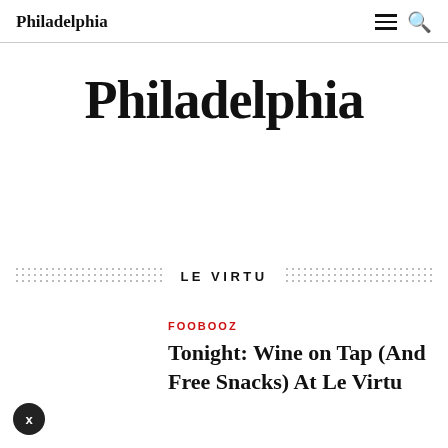Philadelphia
Philadelphia
LE VIRTU
FOOBOOZ
Tonight: Wine on Tap (And Free Snacks) At Le Virtu